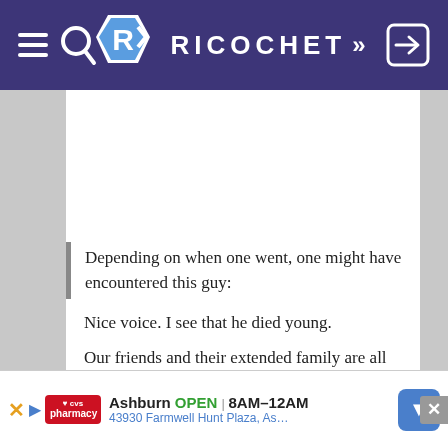RICOCHET
Depending on when one went, one might have encountered this guy:
Nice voice. I see that he died young.
Our friends and their extended family are all very talented, musically. Don't know whether they ever took any of that to Renaissance fairs.
[Figure (screenshot): CVS Pharmacy advertisement banner showing Ashburn store open 8AM-12AM at 43930 Farmwell Hunt Plaza]